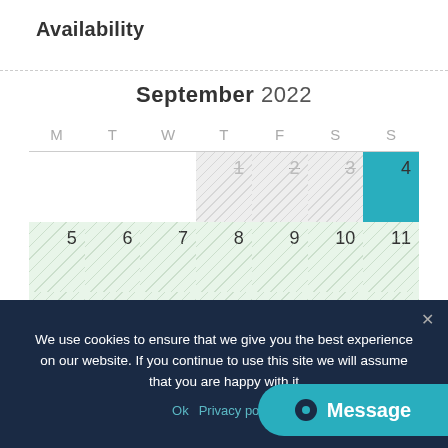Availability
[Figure (other): September 2022 availability calendar. Days 1-3 are strikethrough/unavailable (gray hatch). Day 4 is highlighted in teal (today/selected). Days 5-11 are available (light green with diagonal hatch). Days 12-18 are partially visible at bottom.]
We use cookies to ensure that we give you the best experience on our website. If you continue to use this site we will assume that you are happy with it
Ok  Privacy poli...
[Figure (other): Message chat button in teal]